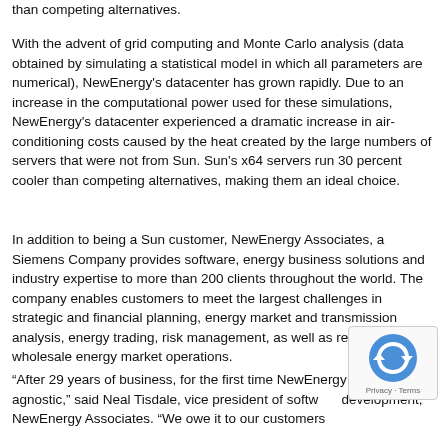than competing alternatives.
With the advent of grid computing and Monte Carlo analysis (data obtained by simulating a statistical model in which all parameters are numerical), NewEnergy's datacenter has grown rapidly. Due to an increase in the computational power used for these simulations, NewEnergy's datacenter experienced a dramatic increase in air-conditioning costs caused by the heat created by the large numbers of servers that were not from Sun. Sun's x64 servers run 30 percent cooler than competing alternatives, making them an ideal choice.
In addition to being a Sun customer, NewEnergy Associates, a Siemens Company provides software, energy business solutions and industry expertise to more than 200 clients throughout the world. The company enables customers to meet the largest challenges in strategic and financial planning, energy market and transmission analysis, energy trading, risk management, as well as retail and wholesale energy market operations.
“After 29 years of business, for the first time NewEnergy is vendor agnostic,” said Neal Tisdale, vice president of software development, NewEnergy Associates. “We owe it to our customers
[Figure (other): reCAPTCHA logo overlay with Privacy - Terms text]